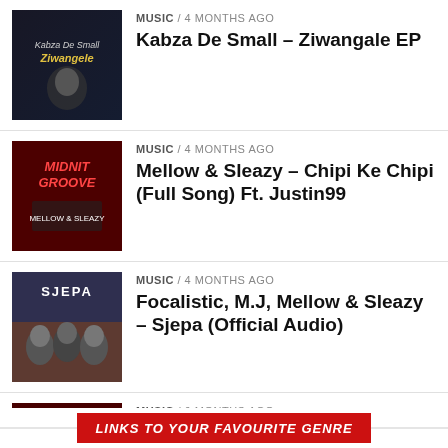MUSIC / 4 months ago — Kabza De Small – Ziwangale EP
MUSIC / 4 months ago — Mellow & Sleazy – Chipi Ke Chipi (Full Song) Ft. Justin99
MUSIC / 4 months ago — Focalistic, M.J, Mellow & Sleazy – Sjepa (Official Audio)
MUSIC / 6 months ago — Bulo ft. Nkosazana Daughter & Mthunzi – Udlala Ngami
LINKS TO YOUR FAVOURITE GENRE